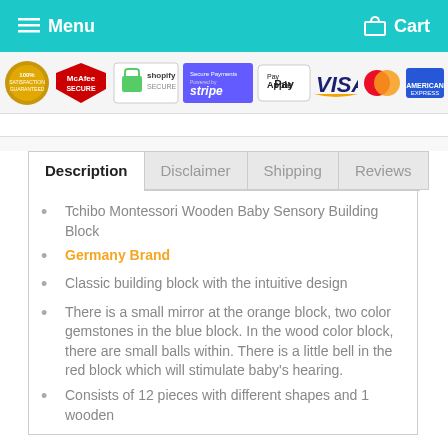Menu  Cart
[Figure (infographic): Trust badges bar: Satisfaction Guaranteed seal, McAfee SECURE, Shopify Secure, Secure Payments powered by Stripe, Apple Pay, VISA, Mastercard, American Express]
Description tab selected with Disclaimer, Shipping, Reviews tabs
Tchibo Montessori Wooden Baby Sensory Building Block
Germany Brand
Classic building block with the intuitive design
There is a small mirror at the orange block, two color gemstones in the blue block. In the wood color block, there are small balls within. There is a little bell in the red block which will stimulate baby's hearing.
Consists of 12 pieces with different shapes and 1 wooden